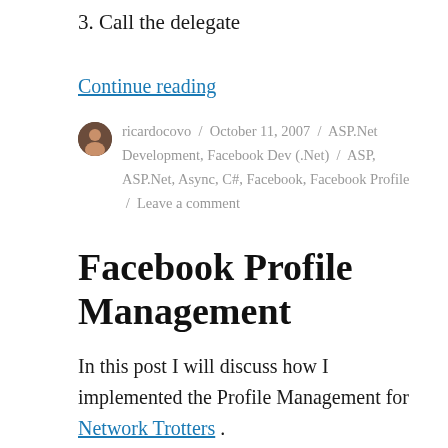3. Call the delegate
Continue reading
ricardocovo / October 11, 2007 / ASP.Net Development, Facebook Dev (.Net) / ASP, ASP.Net, Async, C#, Facebook, Facebook Profile / Leave a comment
Facebook Profile Management
In this post I will discuss how I implemented the Profile Management for Network Trotters .